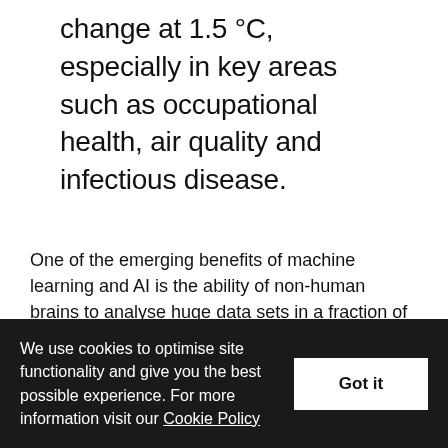change at 1.5 °C, especially in key areas such as occupational health, air quality and infectious disease.
One of the emerging benefits of machine learning and AI is the ability of non-human brains to analyse huge data sets in a fraction of the time it takes us. We've already seen how this works to improve healthcare: look out for more collaborations in the climate field.
One example is that between US nonprofit WattTime and UK thinktank Carbon Tracker, using satellite
We use cookies to optimise site functionality and give you the best possible experience. For more information visit our Cookie Policy